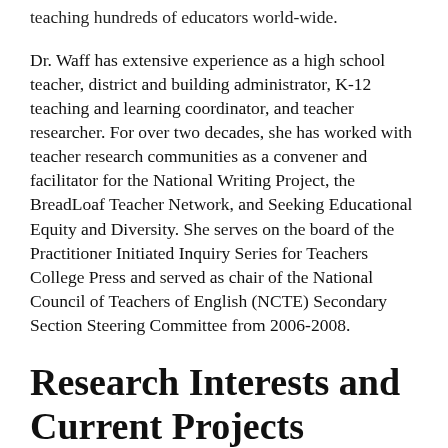teaching hundreds of educators world-wide.
Dr. Waff has extensive experience as a high school teacher, district and building administrator, K-12 teaching and learning coordinator, and teacher researcher. For over two decades, she has worked with teacher research communities as a convener and facilitator for the National Writing Project, the BreadLoaf Teacher Network, and Seeking Educational Equity and Diversity. She serves on the board of the Practitioner Initiated Inquiry Series for Teachers College Press and served as chair of the National Council of Teachers of English (NCTE) Secondary Section Steering Committee from 2006-2008.
Research Interests and Current Projects
Dr. Waff research interests focus on teaching